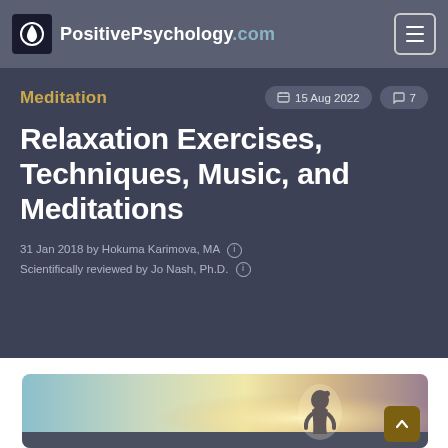PositivePsychology.com
Meditation
15 Aug 2022  ·  7 comments
Relaxation Exercises, Techniques, Music, and Meditations
31 Jan 2018 by Hokuma Karimova, MA
Scientifically reviewed by Jo Nash, Ph.D.
[Figure (photo): A person silhouetted against a bright backlit sky, viewed from behind, with warm golden and cool blue tones creating a serene, contemplative mood.]